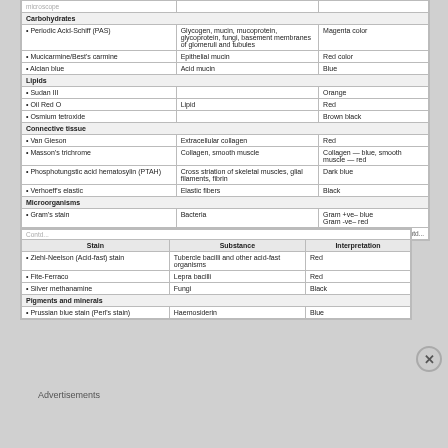| Stain | Substance | Interpretation |
| --- | --- | --- |
| Carbohydrates |  |  |
| Periodic Acid-Schiff (PAS) | Glycogen, mucin, mucoprotein, glycoprotein, fungi, basement membranes of glomeruli and tubules | Magenta color |
| Mucicarmine/Best's carmine | Epithelial mucin | Red color |
| Alcian blue | Acid mucin | Blue |
| Lipids |  |  |
| Sudan III |  | Orange |
| Oil Red O | Lipid | Red |
| Osmium tetroxide |  | Brown black |
| Connective tissue |  |  |
| Van Gieson | Extracellular collagen | Red |
| Masson's trichrome | Collagen, smooth muscle | Collagen — blue, smooth muscle — red |
| Phosphotungstic acid hematosylin (PTAH) | Cross striation of skeletal muscles, glial filaments, fibrin | Dark blue |
| Verhoeff's elastic | Elastic fibers | Black |
| Microorganisms |  |  |
| Gram's stain | Bacteria | Gram +ve– blue
Gram -ve– red |
| Stain | Substance | Interpretation |
| --- | --- | --- |
| Ziehl-Neelson (Acid-fast) stain | Tubercle bacilli and other acid-fast organisms | Red |
| Fite-Ferraco | Lepra bacilli | Red |
| Silver methanamine | Fungi | Black |
| Pigments and minerals |  |  |
| Prussian blue stain (Perl's stain) | Haemosiderin | Blue |
Advertisements